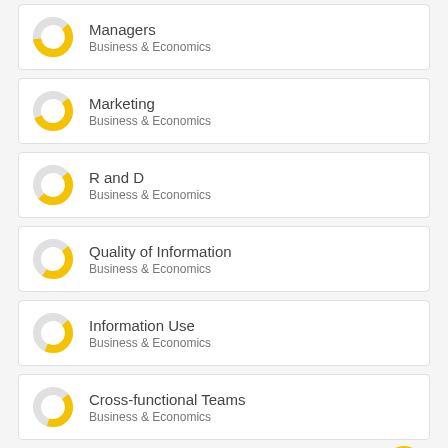Managers — Business & Economics
Marketing — Business & Economics
R and D — Business & Economics
Quality of Information — Business & Economics
Information Use — Business & Economics
Cross-functional Teams — Business & Economics
View full fingerprint ›